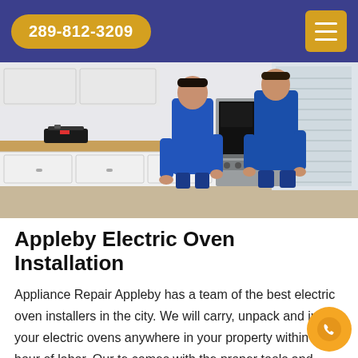289-812-3209
[Figure (photo): Two workers in blue uniforms installing a stainless steel electric oven in a white kitchen. A toolbox sits on the counter to the left.]
Appleby Electric Oven Installation
Appliance Repair Appleby has a team of the best electric oven installers in the city. We will carry, unpack and install your electric ovens anywhere in your property within an hour of labor. Our te comes with the proper tools and machinery to